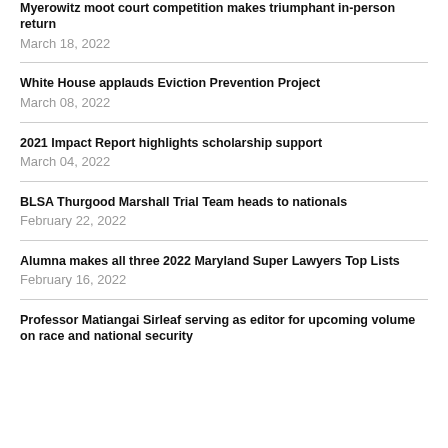Myerowitz moot court competition makes triumphant in-person return
March 18, 2022
White House applauds Eviction Prevention Project
March 08, 2022
2021 Impact Report highlights scholarship support
March 04, 2022
BLSA Thurgood Marshall Trial Team heads to nationals
February 22, 2022
Alumna makes all three 2022 Maryland Super Lawyers Top Lists
February 16, 2022
Professor Matiangai Sirleaf serving as editor for upcoming volume on race and national security